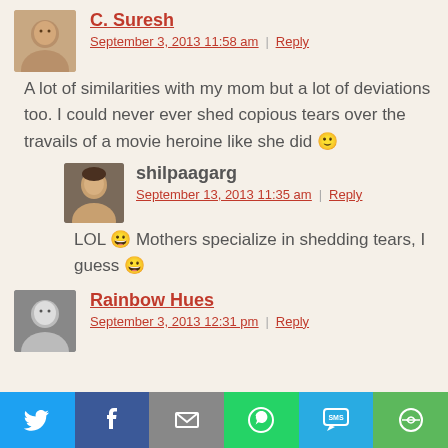C. Suresh
September 3, 2013 11:58 am | Reply
A lot of similarities with my mom but a lot of deviations too. I could never ever shed copious tears over the travails of a movie heroine like she did 🙂
shilpaagarg
September 13, 2013 11:35 am | Reply
LOL 😀 Mothers specialize in shedding tears, I guess 😀
Rainbow Hues
September 3, 2013 12:31 pm | Reply
[Figure (infographic): Social share bar with Twitter, Facebook, Email, WhatsApp, SMS, and More buttons]